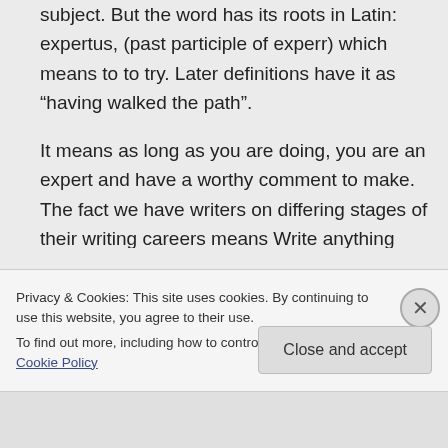subject. But the word has its roots in Latin: expertus, (past participle of experr) which means to to try. Later definitions have it as “having walked the path”.
It means as long as you are doing, you are an expert and have a worthy comment to make. The fact we have writers on differing stages of their writing careers means Write anything reaches the most number of readers… we’re not a bunch of old hands dispensing information like lollies, but
Privacy & Cookies: This site uses cookies. By continuing to use this website, you agree to their use.
To find out more, including how to control cookies, see here: Cookie Policy
Close and accept